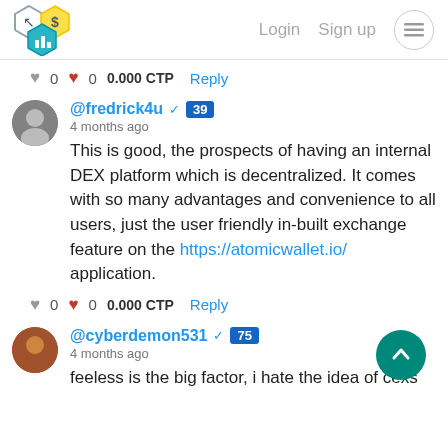Login  Sign up
♥ 0  ♥ 0  0.000 CTP  Reply
@fredrick4u  39
4 months ago
This is good, the prospects of having an internal DEX platform which is decentralized. It comes with so many advantages and convenience to all users, just the user friendly in-built exchange feature on the https://atomicwallet.io/ application.
♥ 0  ♥ 0  0.000 CTP  Reply
@cyberdemon531  75
4 months ago
feeless is the big factor, i hate the idea of cexs